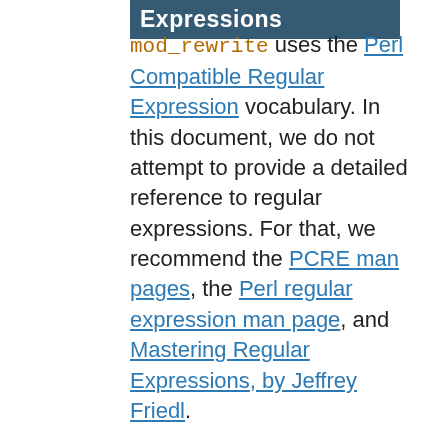Expressions
mod_rewrite uses the Perl Compatible Regular Expression vocabulary. In this document, we do not attempt to provide a detailed reference to regular expressions. For that, we recommend the PCRE man pages, the Perl regular expression man page, and Mastering Regular Expressions, by Jeffrey Friedl.
In this document, we attempt to provide enough of a regex vocabulary to get you started, without being overwhelming, in the hope that RewriteRules will be scientific formulae, rather than magical incantations.